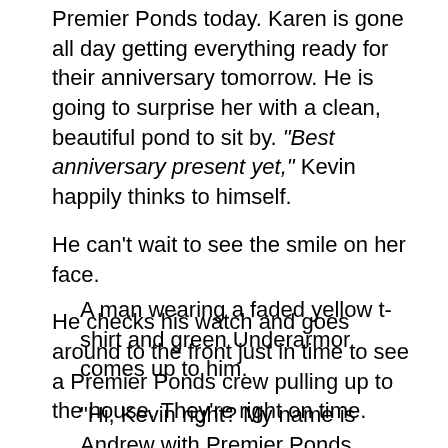Premier Ponds today. Karen is gone all day getting everything ready for their anniversary tomorrow. He is going to surprise her with a clean, beautiful pond to sit by. “Best anniversary present yet,” Kevin happily thinks to himself.
He can’t wait to see the smile on her face.
He checks his watch and goes around to the front just in time to see a Premier Ponds crew pulling up to the house. They’re right on time.
A man wearing a faded yellow t-shirt and green Underarmor comes up to him.
“Hi, Kevin right? My name is Andrew with Premier Ponds. We’re here to give your pond the fall pond care treatment. We’re going to make it look amazing for you and your wife’s anniversary.” Andrew cheerily claims.